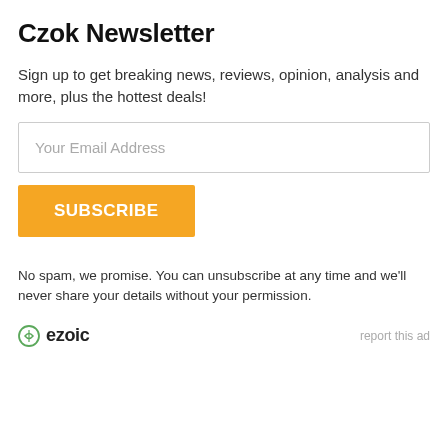Czok Newsletter
Sign up to get breaking news, reviews, opinion, analysis and more, plus the hottest deals!
Your Email Address
SUBSCRIBE
No spam, we promise. You can unsubscribe at any time and we'll never share your details without your permission.
[Figure (logo): Ezoic logo with circular icon and bold 'ezoic' text]
report this ad